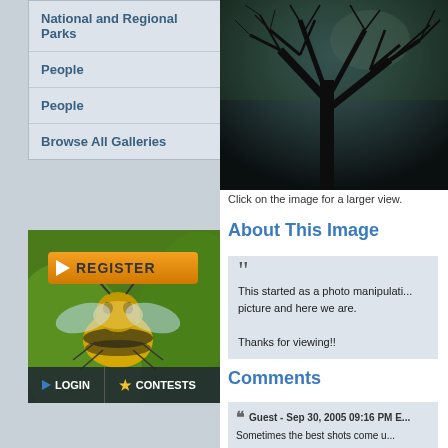National and Regional Parks
People
People
Browse All Galleries
[Figure (screenshot): Register banner with bee macro photo background, showing REGISTER button and LOGIN / CONTESTS bar at bottom]
[Figure (photo): Dark moody photo of bare tree branches against a dark sky, appears to be a photo manipulation]
Click on the image for a larger view.
About This Image
This started as a photo manipulati... picture and here we are.

Thanks for viewing!!
Comments
Guest - Sep 30, 2005 09:16 PM E... Sometimes the best shots come u...